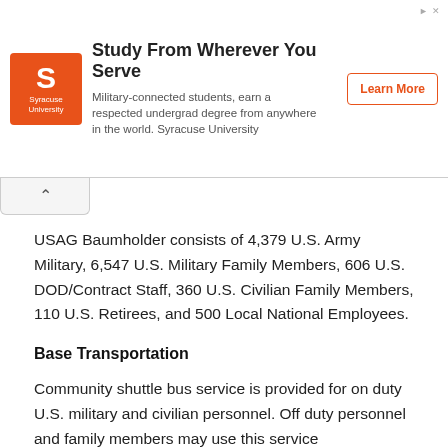[Figure (other): Advertisement banner for Syracuse University. Orange square logo with 'S' and 'Syracuse University' text. Headline: 'Study From Wherever You Serve'. Subtext: 'Military-connected students, earn a respected undergrad degree from anywhere in the world. Syracuse University'. Orange outlined button: 'Learn More'.]
USAG Baumholder consists of 4,379 U.S. Army Military, 6,547 U.S. Military Family Members, 606 U.S. DOD/Contract Staff, 360 U.S. Civilian Family Members, 110 U.S. Retirees, and 500 Local National Employees.
Base Transportation
Community shuttle bus service is provided for on duty U.S. military and civilian personnel. Off duty personnel and family members may use this service